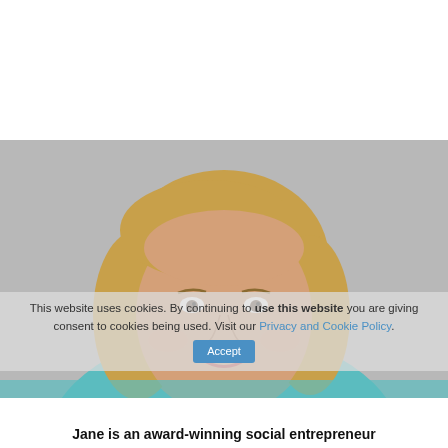[Figure (photo): Professional headshot of a woman with blonde hair and a teal scarf, smiling, against a grey background.]
This website uses cookies. By continuing to use this website you are giving consent to cookies being used. Visit our Privacy and Cookie Policy.
Jane is an award-winning social entrepreneur